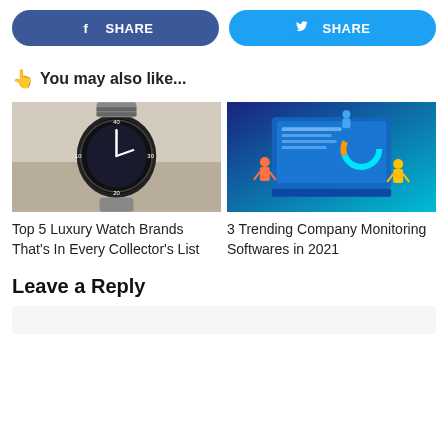[Figure (other): Facebook Share button (blue rounded rectangle with Facebook icon and SHARE text)]
[Figure (other): Twitter Share button (light blue rounded rectangle with Twitter bird icon and SHARE text)]
👆 You may also like...
[Figure (photo): Photo of a luxury diver watch (TAG Heuer style) with black bezel and steel bracelet on white background]
[Figure (illustration): Tech illustration of people working with a large laptop/dashboard showing charts and graphs on blue gradient background]
Top 5 Luxury Watch Brands That's In Every Collector's List
3 Trending Company Monitoring Softwares in 2021
Leave a Reply